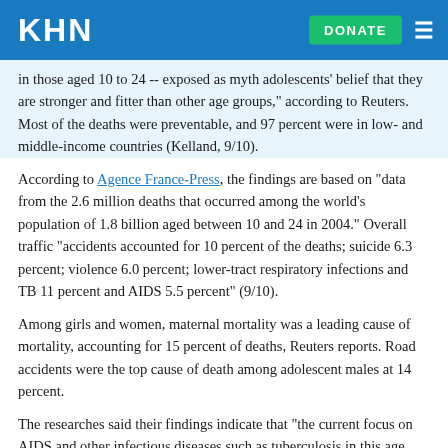KHN | DONATE
in those aged 10 to 24 -- exposed as myth adolescents' belief that they are stronger and fitter than other age groups," according to Reuters. Most of the deaths were preventable, and 97 percent were in low- and middle-income countries (Kelland, 9/10).
According to Agence France-Press, the findings are based on "data from the 2.6 million deaths that occurred among the world's population of 1.8 billion aged between 10 and 24 in 2004." Overall traffic "accidents accounted for 10 percent of the deaths; suicide 6.3 percent; violence 6.0 percent; lower-tract respiratory infections and TB 11 percent and AIDS 5.5 percent" (9/10).
Among girls and women, maternal mortality was a leading cause of mortality, accounting for 15 percent of deaths, Reuters reports. Road accidents were the top cause of death among adolescent males at 14 percent.
The researches said their findings indicate that "the current focus on AIDS and other infectious diseases such as tuberculosis in this age group, while important, was 'an insufficient response,'" Reuters writes. George Patton of the Center for Adolescent Health and Murdoch Children's Research Institute in Australia, who led the